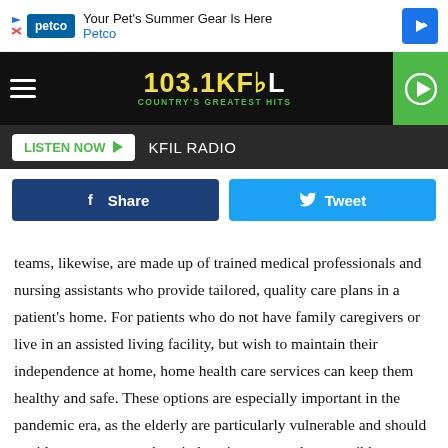[Figure (screenshot): Petco advertisement banner: 'Your Pet's Summer Gear Is Here' with Petco logo and blue arrow icon]
[Figure (logo): 103.1 KFIL Country's Greatest Hits radio station logo with hamburger menu and green play button]
LISTEN NOW ▶   KFIL RADIO
Share   Tweet
teams, likewise, are made up of trained medical professionals and nursing assistants who provide tailored, quality care plans in a patient's home. For patients who do not have family caregivers or live in an assisted living facility, but wish to maintain their independence at home, home health care services can keep them healthy and safe. These options are especially important in the pandemic era, as the elderly are particularly vulnerable and should avoid non-emergency hospital settings as much as possible.